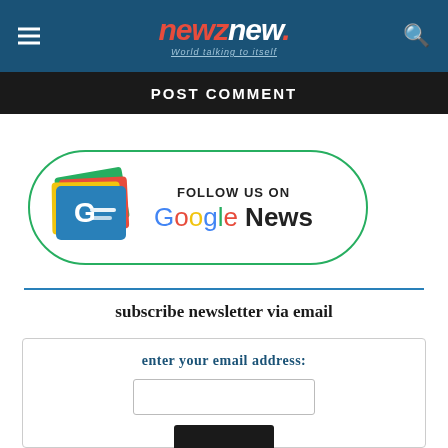newznew. - World talking to itself
POST COMMENT
[Figure (logo): Google News follow us on banner with GE logo icon and colorful Google News text]
subscribe newsletter via email
enter your email address: